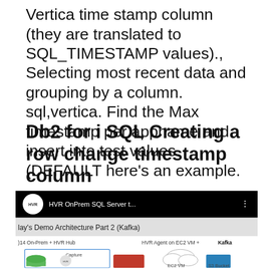Vertica time stamp column (they are translated to SQL_TIMESTAMP values)., Selecting most recent data and grouping by a column. sql,vertica. Find the Max timestamp per appname and insert into test values (DEFAULT here's an example.
Db2 for i SQL Creating a row change timestamp column
[Figure (screenshot): Screenshot of a YouTube-style video player showing 'HVR OnPrem SQL Server t...' video with HVR logo, and below it a demo architecture diagram titled 'Day's Demo Architecture Part 2 (Kafka)' showing SQL Server 2014 On-Prem + HVR Hub on left, and HVR Agent on EC2 VM + Kafka on right, with Capture label and cloud/S3 Bucket icons.]